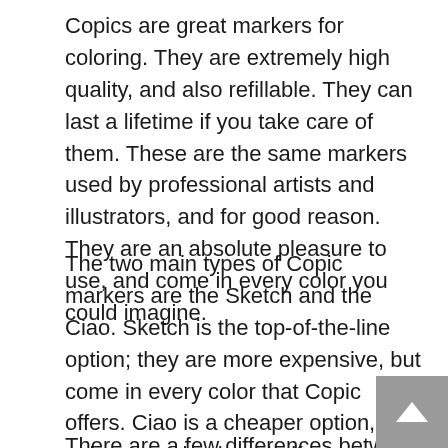Copics are great markers for coloring. They are extremely high quality, and also refillable. They can last a lifetime if you take care of them. These are the same markers used by professional artists and illustrators, and for good reason. They are an absolute pleasure to use, and come in every color you could imagine.
The two main types of Copic markers are the Sketch and the Ciao. Sketch is the top-of-the-line option; they are more expensive, but come in every color that Copic offers. Ciao is a cheaper option, but only comes in about half as many colors.
There are a few differences between these two types of markers, but luckily none of them have to do with quality. Whichever you decide on, Sketch or Ciao – you will be choosing a professional level art marker.